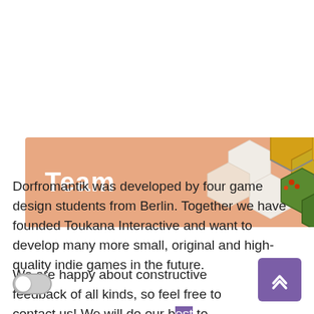[Figure (illustration): Banner with salmon/peach background showing 'Team' title in white bold text, with hexagonal tile graphics on the right side resembling a board game (Dorfromantik tiles with green, yellow, and brown colors)]
Dorfromantik was developed by four game design students from Berlin. Together we have founded Toukana Interactive and want to develop many more small, original and high-quality indie games in the future.
We are happy about constructive feedback of all kinds, so feel free to contact us! We will do our best to respond to messages quickly and fix any problems that you may have.